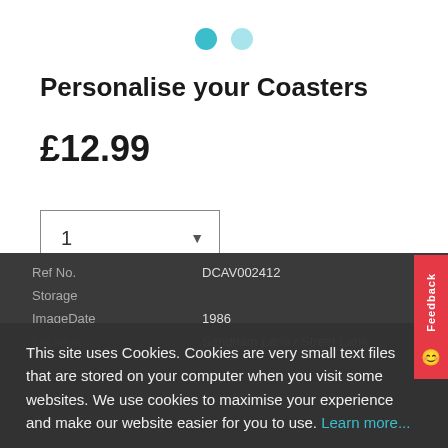[Figure (other): Pagination dots: one filled teal circle and one light teal circle]
Personalise your Coasters
£12.99
[Figure (other): Quantity dropdown selector showing value 1]
ADD TO BASKET
| Label | Value |
| --- | --- |
| Ref No. | DCAV002412 |
| Storage | [value] |
| ImageDate | 1986 |
| Location | Sandham Lane / Street Lane |
This site uses Cookies. Cookies are very small text files that are stored on your computer when you visit some websites. We use cookies to maximise your experience and make our website easier for you to use. Learn more...